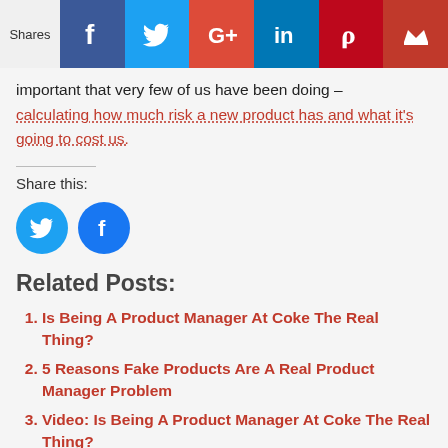[Figure (other): Social sharing bar with icons for Facebook, Twitter, Google+, LinkedIn, Pinterest, and a crown icon, with 'Shares' label on the left]
important that very few of us have been doing – calculating how much risk a new product has and what it's going to cost us.
Share this:
[Figure (other): Two circular share buttons: Twitter (blue bird icon) and Facebook (blue f icon)]
Related Posts:
Is Being A Product Manager At Coke The Real Thing?
5 Reasons Fake Products Are A Real Product Manager Problem
Video: Is Being A Product Manager At Coke The Real Thing?